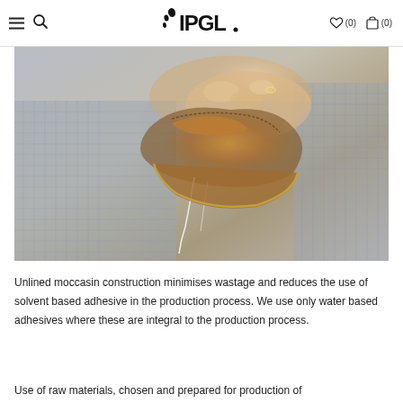≡ 🔍 [LOGO: IPGL footwear brand] ☆(0) 🛍(0)
[Figure (photo): Person stitching/assembling a leather moccasin shoe by hand, wearing a plaid shirt, holding the shoe piece with needle and thread visible.]
Unlined moccasin construction minimises wastage and reduces the use of solvent based adhesive in the production process. We use only water based adhesives where these are integral to the production process.
Use of raw materials, chosen and prepared for production of...